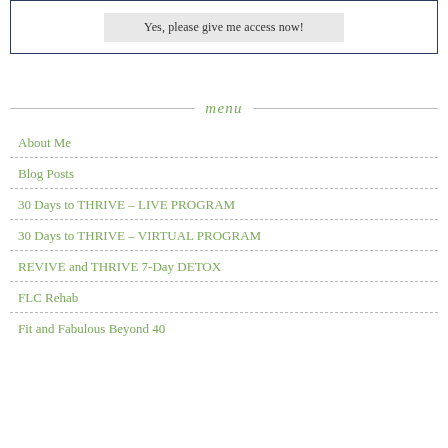[Figure (screenshot): A button inside a bordered box with text 'Yes, please give me access now!']
menu
About Me
Blog Posts
30 Days to THRIVE – LIVE PROGRAM
30 Days to THRIVE – VIRTUAL PROGRAM
REVIVE and THRIVE 7-Day DETOX
FLC Rehab
Fit and Fabulous Beyond 40